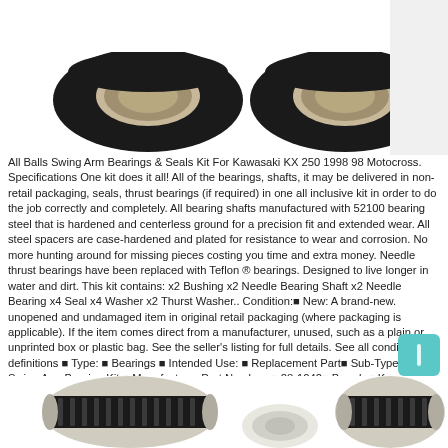[Figure (photo): Top portion showing two black rubber bearing seals/rings with beige inner rings, partially cropped at top]
All Balls Swing Arm Bearings & Seals Kit For Kawasaki KX 250 1998 98 Motocross. Specifications One kit does it all! All of the bearings, shafts, it may be delivered in non-retail packaging, seals, thrust bearings (if required) in one all inclusive kit in order to do the job correctly and completely. All bearing shafts manufactured with 52100 bearing steel that is hardened and centerless ground for a precision fit and extended wear. All steel spacers are case-hardened and plated for resistance to wear and corrosion. No more hunting around for missing pieces costing you time and extra money. Needle thrust bearings have been replaced with Teflon ® bearings. Designed to live longer in water and dirt. This kit contains: x2 Bushing x2 Needle Bearing Shaft x2 Needle Bearing x4 Seal x4 Washer x2 Thurst Washer.. Condition:■ New: A brand-new. unopened and undamaged item in original retail packaging (where packaging is applicable). If the item comes direct from a manufacturer, unused, such as a plain or unprinted box or plastic bag. See the seller's listing for full details. See all condition definitions ■ Type: ■ Bearings ■ Intended Use: ■ Replacement Part■ Sub-Type: ■ Swing Arm Bearing Kit ■ Manufacturer Part Number: ■ 28-1042■ Brand: ■ Kawasaki ■ Manufacturer: ■ All Balls■ Model/ Series: ■ KX ■ EAN: ■ Does not apply ■. bushings.
[Figure (photo): Bottom portion showing needle bearing cages and a white spacer/washer component, partially cropped at bottom]